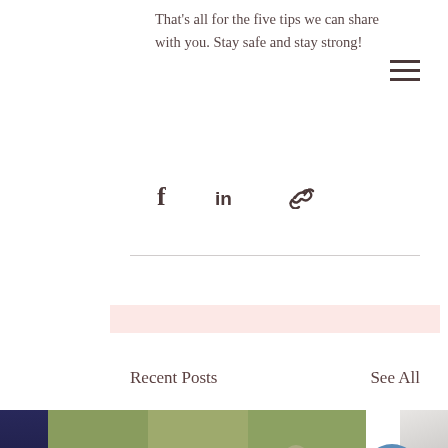That's all for the five tips we can share with you. Stay safe and stay strong!
[Figure (infographic): Social share icons row: Facebook, LinkedIn, link/chain icon]
[Figure (infographic): Pink decorative banner strip]
Recent Posts
See All
[Figure (photo): Couple photo: man in white shirt with suspenders holding flowers behind his back, woman in pink dress blurred in background on railway tracks]
Dealing with rejection